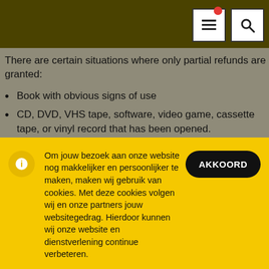[Figure (screenshot): Website header bar with list icon and search icon in top right, dark olive background]
There are certain situations where only partial refunds are granted:
Book with obvious signs of use
CD, DVD, VHS tape, software, video game, cassette tape, or vinyl record that has been opened.
Any item not in its original condition, is damaged or missing parts for reasons not due to our error.
Any item that is returned more than 30 days after delivery
Om jouw bezoek aan onze website nog makkelijker en persoonlijker te maken, maken wij gebruik van cookies. Met deze cookies volgen wij en onze partners jouw websitegedrag. Hierdoor kunnen wij onze website en dienstverlening continue verbeteren.